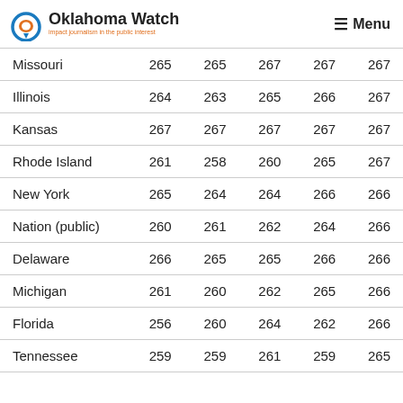Oklahoma Watch — Impact journalism in the public interest | Menu
| State | Col1 | Col2 | Col3 | Col4 | Col5 |
| --- | --- | --- | --- | --- | --- |
| Missouri | 265 | 265 | 267 | 267 | 267 |
| Illinois | 264 | 263 | 265 | 266 | 267 |
| Kansas | 267 | 267 | 267 | 267 | 267 |
| Rhode Island | 261 | 258 | 260 | 265 | 267 |
| New York | 265 | 264 | 264 | 266 | 266 |
| Nation (public) | 260 | 261 | 262 | 264 | 266 |
| Delaware | 266 | 265 | 265 | 266 | 266 |
| Michigan | 261 | 260 | 262 | 265 | 266 |
| Florida | 256 | 260 | 264 | 262 | 266 |
| Tennessee | 259 | 259 | 261 | 259 | 265 |